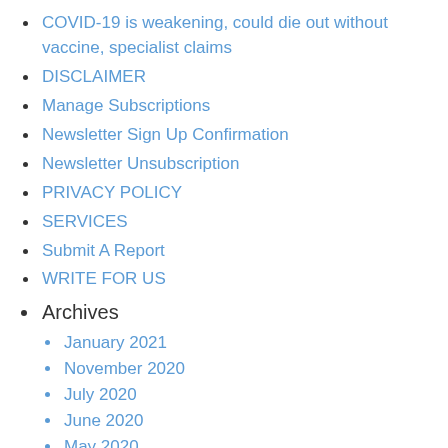COVID-19 is weakening, could die out without vaccine, specialist claims
DISCLAIMER
Manage Subscriptions
Newsletter Sign Up Confirmation
Newsletter Unsubscription
PRIVACY POLICY
SERVICES
Submit A Report
WRITE FOR US
Archives
January 2021
November 2020
July 2020
June 2020
May 2020
April 2020
January 2020
October 2019